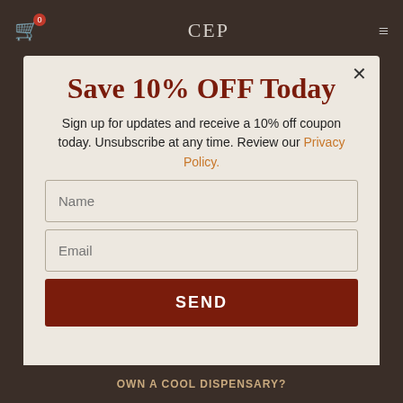CEP
Save 10% OFF Today
Sign up for updates and receive a 10% off coupon today. Unsubscribe at any time. Review our Privacy Policy.
Name
Email
SEND
OWN A COOL DISPENSARY?